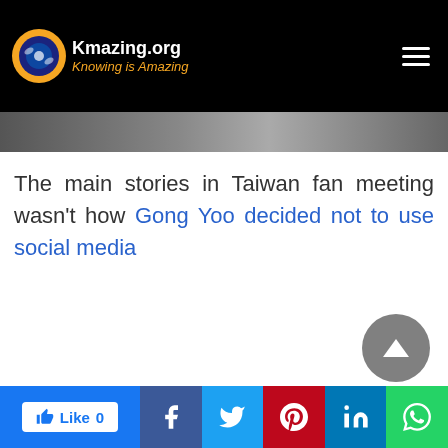Kmazing.org — Knowing is Amazing
The main stories in Taiwan fan meeting wasn't how Gong Yoo decided not to use social media